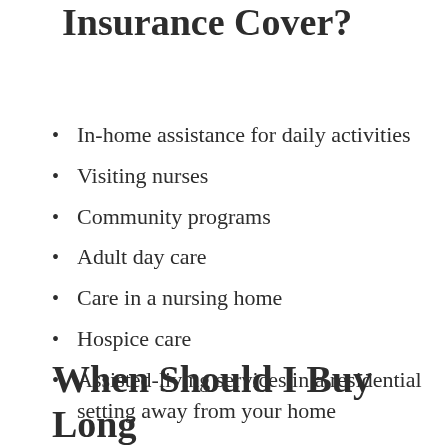Insurance Cover?
In-home assistance for daily activities
Visiting nurses
Community programs
Adult day care
Care in a nursing home
Hospice care
Assisted-living services in a residential setting away from your home
When Should I Buy Long